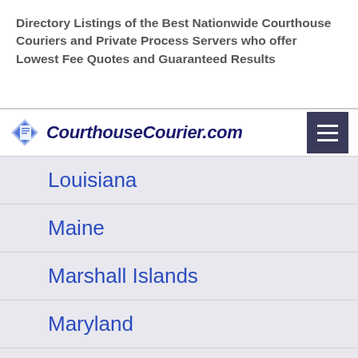Directory Listings of the Best Nationwide Courthouse Couriers and Private Process Servers who offer Lowest Fee Quotes and Guaranteed Results
[Figure (logo): CourthouseCourier.com logo with a blue diamond/document icon and italic bold text]
Louisiana
Maine
Marshall Islands
Maryland